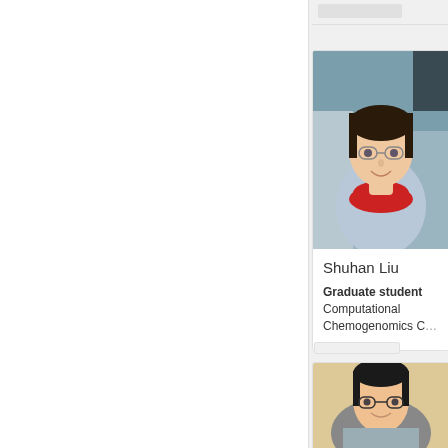[Figure (photo): Portrait photo of Shuhan Liu, a young woman with glasses and dark hair pulled back, wearing a floral top with red collar trim, outdoors background]
Shuhan Liu
Graduate student
Computational Chemogenomics Co
[Figure (photo): Portrait photo of a young man with glasses and dark hair, wearing a grey collared shirt, warm background]